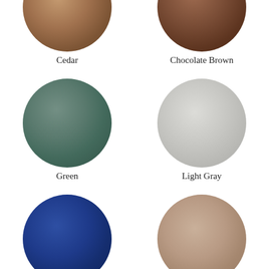[Figure (illustration): Color swatch circle for Cedar (warm brown felt texture), partially cropped at top]
Cedar
[Figure (illustration): Color swatch circle for Chocolate Brown (dark brown felt texture), partially cropped at top]
Chocolate Brown
[Figure (illustration): Color swatch circle for Green (muted teal-green felt texture)]
Green
[Figure (illustration): Color swatch circle for Light Gray (pale gray felt texture)]
Light Gray
[Figure (illustration): Color swatch circle for Navy Blue (deep navy blue felt texture)]
Navy Blue
[Figure (illustration): Color swatch circle for Weatherwood (warm beige/tan felt texture)]
Weatherwood
[Figure (illustration): Color swatch circle for white/off-white, partially cropped at bottom]
[Figure (illustration): Color swatch circle for dark charcoal, partially cropped at bottom]